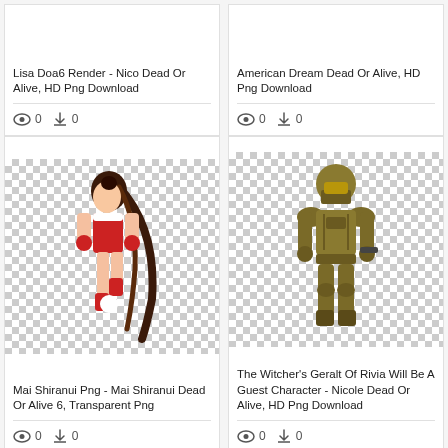Lisa Doa6 Render - Nico Dead Or Alive, HD Png Download
0 views 0 downloads
American Dream Dead Or Alive, HD Png Download
0 views 0 downloads
[Figure (illustration): Mai Shiranui character illustration in red outfit on transparent/checkered background]
Mai Shiranui Png - Mai Shiranui Dead Or Alive 6, Transparent Png
0 views 0 downloads
[Figure (illustration): Armored soldier character (Halo Master Chief style) illustration on transparent/checkered background]
The Witcher's Geralt Of Rivia Will Be A Guest Character - Nicole Dead Or Alive, HD Png Download
0 views 0 downloads